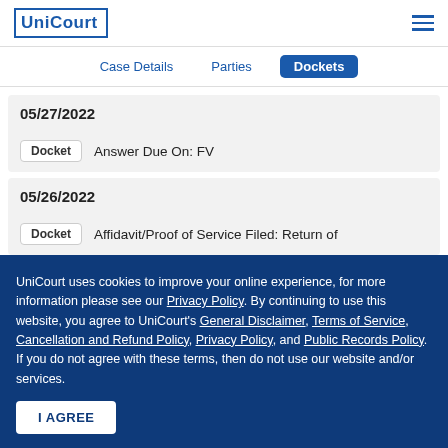UniCourt
Case Details | Parties | Dockets
05/27/2022
Docket  Answer Due On: FV
05/26/2022
Docket  Affidavit/Proof of Service Filed: Return of
UniCourt uses cookies to improve your online experience, for more information please see our Privacy Policy. By continuing to use this website, you agree to UniCourt's General Disclaimer, Terms of Service, Cancellation and Refund Policy, Privacy Policy, and Public Records Policy. If you do not agree with these terms, then do not use our website and/or services.
I AGREE